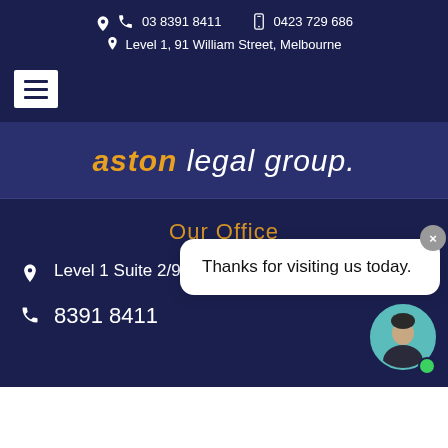03 8391 8411   0423 729 686   Level 1, 91 William Street, Melbourne
[Figure (other): Hamburger menu button (three horizontal lines) on dark navy background]
aston legal group.
Our Office
Level 1 Suite 2/91 William Street Melbourne
8391 8411
[Figure (other): Chat popup bubble saying 'Thanks for visiting us today.' with a close button and a circular avatar of a person with a green online indicator dot]